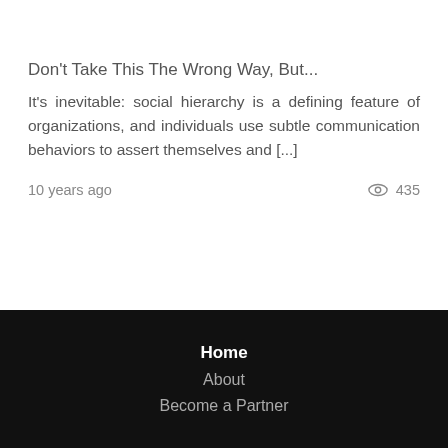Don't Take This The Wrong Way, But...
It's inevitable: social hierarchy is a defining feature of organizations, and individuals use subtle communication behaviors to assert themselves and [...]
10 years ago  435
Home  About  Become a Partner